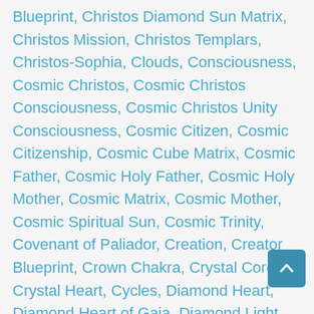Blueprint, Christos Diamond Sun Matrix, Christos Mission, Christos Templars, Christos-Sophia, Clouds, Consciousness, Cosmic Christos, Cosmic Christos Consciousness, Cosmic Christos Unity Consciousness, Cosmic Citizen, Cosmic Citizenship, Cosmic Cube Matrix, Cosmic Father, Cosmic Holy Father, Cosmic Holy Mother, Cosmic Matrix, Cosmic Mother, Cosmic Spiritual Sun, Cosmic Trinity, Covenant of Paliador, Creation, Creator Blueprint, Crown Chakra, Crystal Core, Crystal Heart, Cycles, Diamond Heart, Diamond Heart of Gaia, Diamond Light, Diamond Merkaba, Diamond Pillar, Diamond Sun, Diamond Sun Body, Diamond Sun DNA, Diamond Sun Heart, Diamond Sun Paliadorian Activation, Diamond Sun Races, Diamond Sun Templates, Divine Alchemy, Divine Female Principle, Divine Feminine Principle, Divine Male Principle, Divine Masculine / Divine Feminine, Divine Masculine Principle, Divine Mother, Divine Sacred Union, Divine Trinity, Divine Union, DNA, DNA Upgrades, Double Diamond Body, Double Diamond Body Amplifier, Double Diamond Sun DNA, Ego Death, Ego Personality,